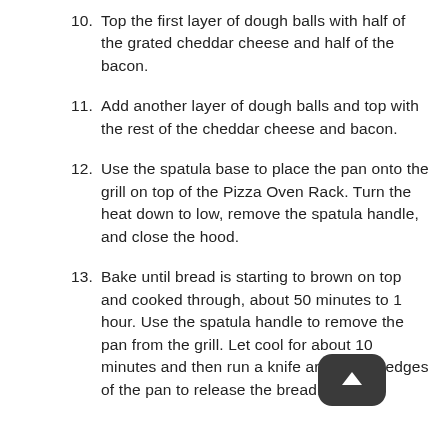10. Top the first layer of dough balls with half of the grated cheddar cheese and half of the bacon.
11. Add another layer of dough balls and top with the rest of the cheddar cheese and bacon.
12. Use the spatula base to place the pan onto the grill on top of the Pizza Oven Rack. Turn the heat down to low, remove the spatula handle, and close the hood.
13. Bake until bread is starting to brown on top and cooked through, about 50 minutes to 1 hour. Use the spatula handle to remove the pan from the grill. Let cool for about 10 minutes and then run a knife around the edges of the pan to release the bread.